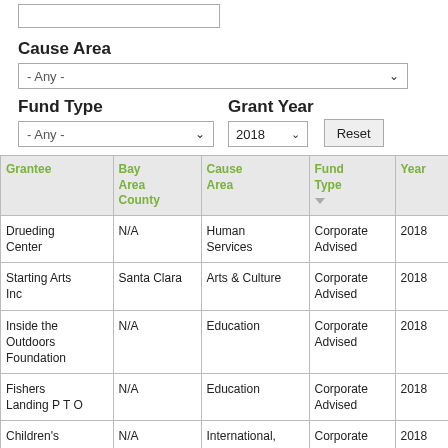Cause Area
- Any -
Fund Type
Grant Year
- Any -
2018
| Grantee | Bay Area County | Cause Area | Fund Type | Year |
| --- | --- | --- | --- | --- |
| Drueding Center | N/A | Human Services | Corporate Advised | 2018 |
| Starting Arts Inc | Santa Clara | Arts & Culture | Corporate Advised | 2018 |
| Inside the Outdoors Foundation | N/A | Education | Corporate Advised | 2018 |
| Fishers Landing P T O | N/A | Education | Corporate Advised | 2018 |
| Children's Hopechest, Inc. | N/A | International, Foreign Affairs | Corporate Advised | 2018 |